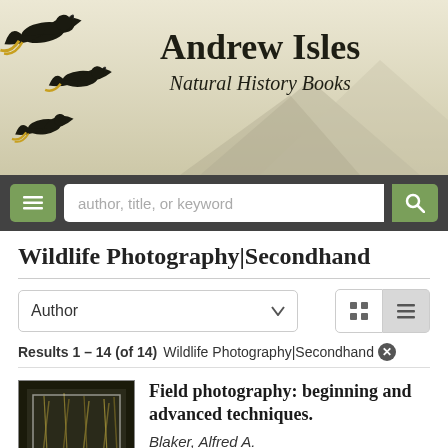[Figure (screenshot): Andrew Isles Natural History Books website header with flying black cockatoos on a beige/olive gradient background]
Andrew Isles Natural History Books
[Figure (screenshot): Navigation bar with hamburger menu button, search input field, and search button]
Wildlife Photography|Secondhand
Author (dropdown), grid/list view toggle buttons
Results 1 - 14 (of 14)  Wildlife Photography|Secondhand ✕
[Figure (photo): Book cover of Field photography: beginning and advanced techniques by Alfred A. Blaker]
Field photography: beginning and advanced techniques.
Blaker, Alfred A.
San Francisco: W H Freeman, 1976. Octavo, photographs, text illustrations, signature,